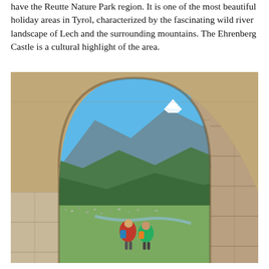have the Reutte Nature Park region. It is one of the most beautiful holiday areas in Tyrol, characterized by the fascinating wild river landscape of Lech and the surrounding mountains. The Ehrenberg Castle is a cultural highlight of the area.
[Figure (photo): View through a stone arch of Ehrenberg Castle showing two hikers (one in red jacket with blue backpack, one in green/orange) looking out over a valley town with a river, green hills, and a snow-capped mountain peak under a clear blue sky.]